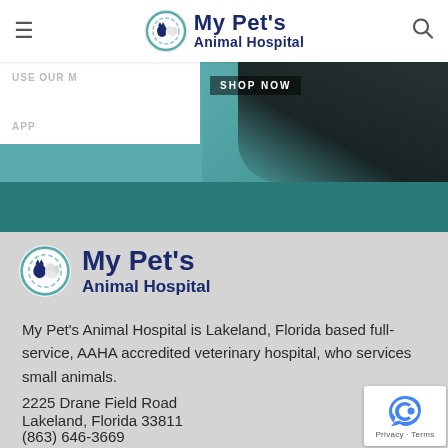[Figure (screenshot): Website header/navigation bar with My Pet's Animal Hospital logo (circular icon with cat and dog silhouettes), hamburger menu icon on left, search icon on right]
[Figure (screenshot): Hero banner area showing partial text 'USE OUR M... APP' on white box left side, and 'SHOP NOW' button over dog photo on right, with teal background]
[Figure (logo): My Pet's Animal Hospital logo with circular icon showing cat and dog silhouettes in teal/navy colors]
My Pet's Animal Hospital is Lakeland, Florida based full-service, AAHA accredited veterinary hospital, who services small animals.
2225 Drane Field Road
Lakeland, Florida 33811
(863) 646-3669